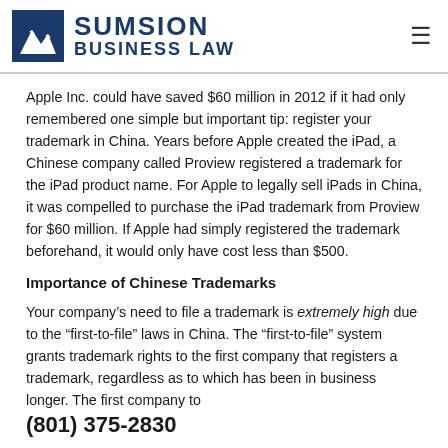[Figure (logo): Sumsion Business Law logo with mountain/state icon and blue text]
Apple Inc. could have saved $60 million in 2012 if it had only remembered one simple but important tip: register your trademark in China. Years before Apple created the iPad, a Chinese company called Proview registered a trademark for the iPad product name. For Apple to legally sell iPads in China, it was compelled to purchase the iPad trademark from Proview for $60 million. If Apple had simply registered the trademark beforehand, it would only have cost less than $500.
Importance of Chinese Trademarks
Your company’s need to file a trademark is extremely high due to the “first-to-file” laws in China. The “first-to-file” system grants trademark rights to the first company that registers a trademark, regardless as to which has been in business longer. The first company to
(801) 375-2830